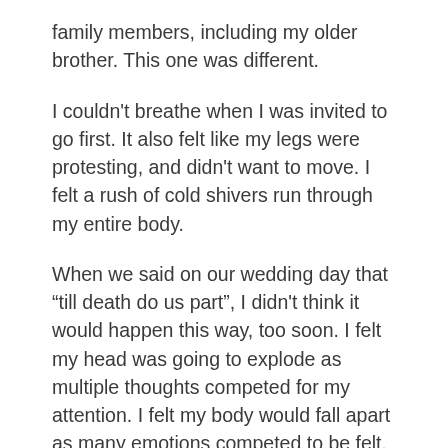family members, including my older brother. This one was different.
I couldn't breathe when I was invited to go first. It also felt like my legs were protesting, and didn't want to move. I felt a rush of cold shivers run through my entire body.
When we said on our wedding day that “till death do us part”, I didn't think it would happen this way, too soon. I felt my head was going to explode as multiple thoughts competed for my attention. I felt my body would fall apart as many emotions competed to be felt.
I felt that they might have as well prepared a second grave. It felt like nothing mattered anymore, and life had lost its purpose and